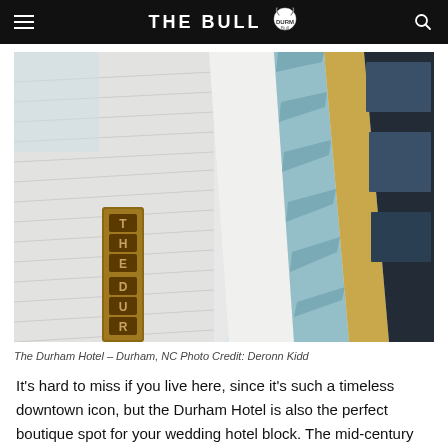THE BULL
[Figure (photo): Upward-angle photograph of The Durham Hotel building exterior, showing the vertical 'THE DURHAM' sign on the left facade and colorful geometric panels (blue, gold, black, white) on the right side of the building against a light sky.]
The Durham Hotel – Durham, NC Photo Credit: Deronn Kidd
It's hard to miss if you live here, since it's such a timeless downtown icon, but the Durham Hotel is also the perfect boutique spot for your wedding hotel block. The mid-century modern interior perfectly reflects Durham's vibrant downtown history, and the hotel boasts over 50...